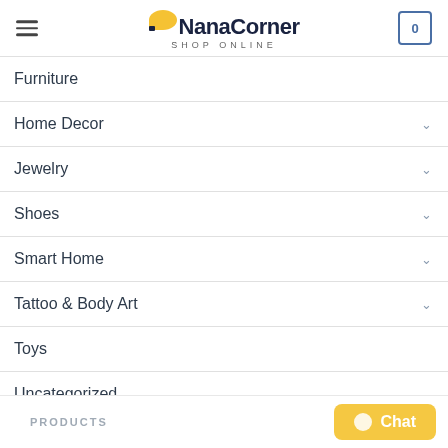NanaCorner SHOP ONLINE
Furniture
Home Decor
Jewelry
Shoes
Smart Home
Tattoo & Body Art
Toys
Uncategorized
PRODUCTS
Chat